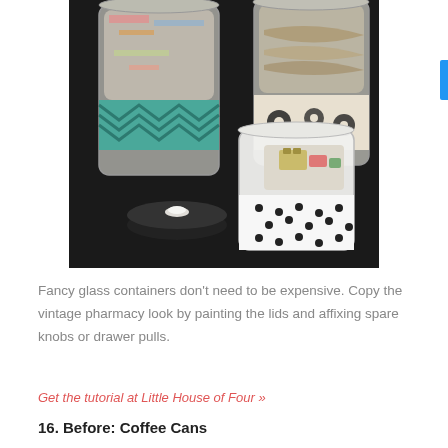[Figure (photo): Three decorated glass jars with various contents (paper clips, rubber bands, colorful items) on a dark background. The jars feature decorative washi tape — one with teal chevron pattern, one with black floral pattern, one with black polka dots. A black lid with a white knob pull sits in front.]
Fancy glass containers don't need to be expensive. Copy the vintage pharmacy look by painting the lids and affixing spare knobs or drawer pulls.
Get the tutorial at Little House of Four »
16. Before: Coffee Cans